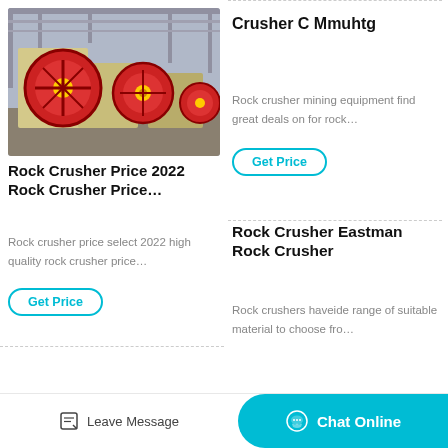[Figure (photo): Industrial jaw crushers with large red flywheels in a factory setting]
Rock Crusher Price 2022 Rock Crusher Price…
Rock crusher price select 2022 high quality rock crusher price…
Get Price
Crusher C Mmuhtg
Rock crusher mining equipment find great deals on for rock…
Get Price
Rock Crusher Eastman Rock Crusher
Rock crushers haveide range of suitable material to choose fro…
Leave Message
Chat Online